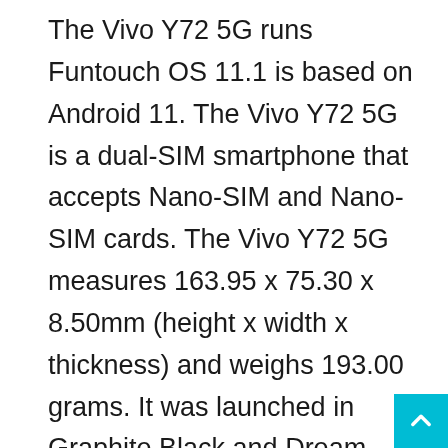The Vivo Y72 5G runs Funtouch OS 11.1 is based on Android 11. The Vivo Y72 5G is a dual-SIM smartphone that accepts Nano-SIM and Nano-SIM cards. The Vivo Y72 5G measures 163.95 x 75.30 x 8.50mm (height x width x thickness) and weighs 193.00 grams. It was launched in Graphite Black and Dream Glow colors.